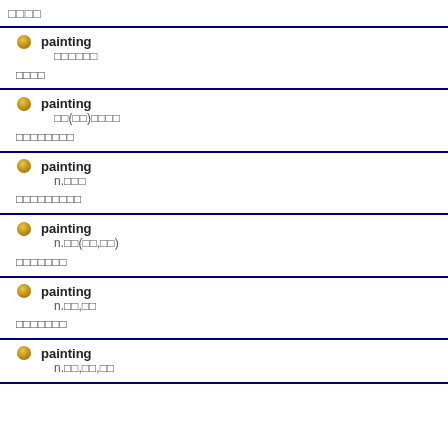□□□□
painting □□□□□□
painting □□(□□)□□□□
painting n.□□□ □□□□□□□□
painting n.□□(□□,□□) □□□□□□□
painting n.□□,□□ □□□□□□□
painting n.□□,□□,□□